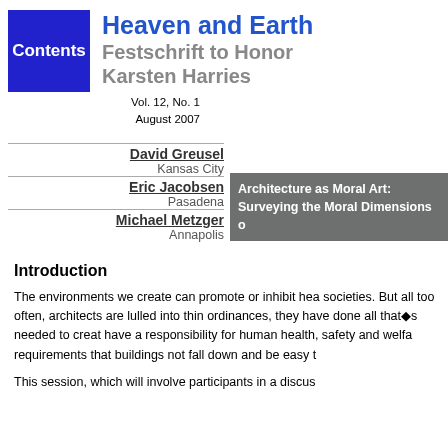[Figure (logo): Blue square box with white bold text 'Contents']
Heaven and Earth Festschrift to Honor Karsten Harries
Vol. 12, No. 1
August 2007
David Greusel
Kansas City
Eric Jacobsen
Pasadena
Michael Metzger
Annapolis
Architecture as Moral Art: Surveying the Moral Dimensions o
Introduction
The environments we create can promote or inhibit hea societies. But all too often, architects are lulled into thin ordinances, they have done all that�s needed to creat have a responsibility for human health, safety and welfa requirements that buildings not fall down and be easy t
This session, which will involve participants in a discus